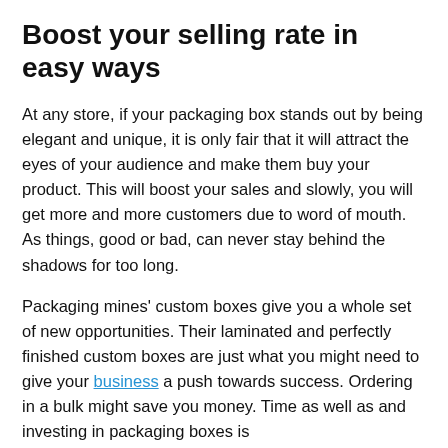Boost your selling rate in easy ways
At any store, if your packaging box stands out by being elegant and unique, it is only fair that it will attract the eyes of your audience and make them buy your product. This will boost your sales and slowly, you will get more and more customers due to word of mouth. As things, good or bad, can never stay behind the shadows for too long.
Packaging mines' custom boxes give you a whole set of new opportunities. Their laminated and perfectly finished custom boxes are just what you might need to give your business a push towards success. Ordering in a bulk might save you money. Time as well as and investing in packaging boxes is